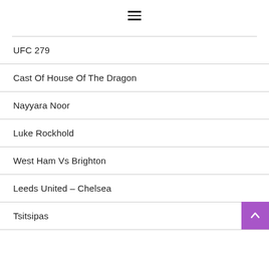[Figure (other): Hamburger menu icon with three horizontal lines]
UFC 279
Cast Of House Of The Dragon
Nayyara Noor
Luke Rockhold
West Ham Vs Brighton
Leeds United – Chelsea
Tsitsipas